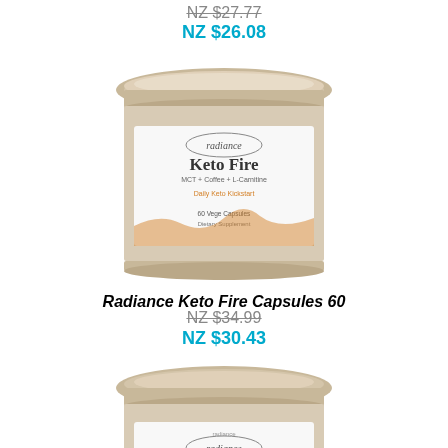NZ $27.77
NZ $26.08
[Figure (photo): Radiance Keto Fire supplement canister with gold lid, white label showing Keto Fire branding, MCT + Coffee + L-Carnitine, Daily Keto Kickstart, 60 Vege Capsules Dietary Supplement]
Radiance Keto Fire Capsules 60
NZ $34.99
NZ $30.43
[Figure (photo): Second Radiance supplement canister with gold lid, partially visible, showing radiance brand logo on white label]